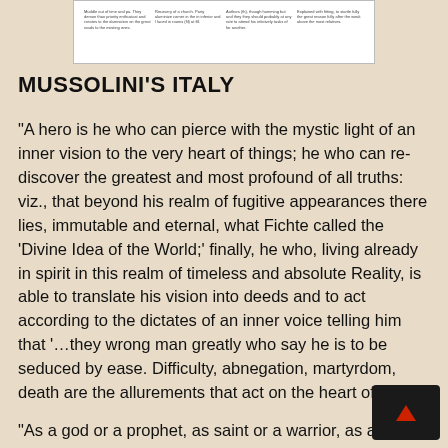[Figure (screenshot): A small thumbnail image showing a table or document excerpt with four columns of small text, bordered in black, displayed at the top of the page.]
MUSSOLINI'S ITALY
“A hero is he who can pierce with the mystic light of an inner vision to the very heart of things; he who can re-discover the greatest and most profound of all truths: viz., that beyond his realm of fugitive appearances there lies, immutable and eternal, what Fichte called the ‘Divine Idea of the World;’ finally, he who, living already in spirit in this realm of timeless and absolute Reality, is able to translate his vision into deeds and to act according to the dictates of an inner voice telling him that ‘…they wrong man greatly who say he is to be seduced by ease. Difficulty, abnegation, martyrdom, death are the allurements that act on the heart of man.’
“As a god or a prophet, as saint or a warrior, as a p… or a king; under whatever aspect they might have appeared on this earth, all heroes have always…